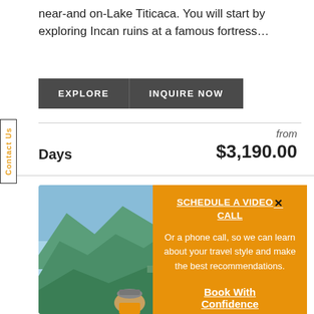near-and on-Lake Titicaca. You will start by exploring Incan ruins at a famous fortress...
EXPLORE | INQUIRE NOW
Days  from $3,190.00
[Figure (photo): Person wearing a cap looking at Machu Picchu mountain ruins landscape with green mountains and blue sky]
SCHEDULE A VIDEO CALL
Or a phone call, so we can learn about your travel style and make the best recommendations.
Book With Confidence